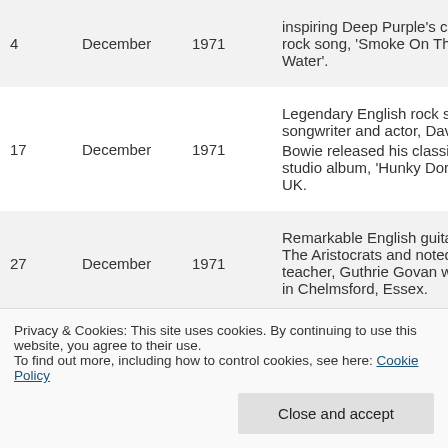| Day | Month | Year | Description |
| --- | --- | --- | --- |
| 4 | December | 1971 | inspiring Deep Purple's classic rock song, 'Smoke On The Water'. |
| 17 | December | 1971 | Legendary English rock singer, songwriter and actor, David Bowie released his classic 4th studio album, 'Hunky Dory' in the UK. |
| 27 | December | 1971 | Remarkable English guitarist with The Aristocrats and noted guitar teacher, Guthrie Govan was born in Chelmsford, Essex. |
Privacy & Cookies: This site uses cookies. By continuing to use this website, you agree to their use. To find out more, including how to control cookies, see here: Cookie Policy
Close and accept